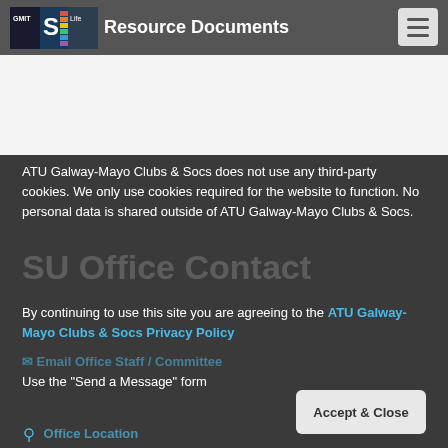Resource Documents
ATU Galway-Mayo Clubs & Socs does not use any third-party cookies. We only use cookies required for the website to function. No personal data is shared outside of ATU Galway-Mayo Clubs & Socs.
SU Office Contact
By continuing to use this site you are agreeing to the ATU Galway-Mayo Clubs & Socs Privacy Policy
Email Office Staff / Committee
Use the "Send a Message" form
Accept & Close
Office Location